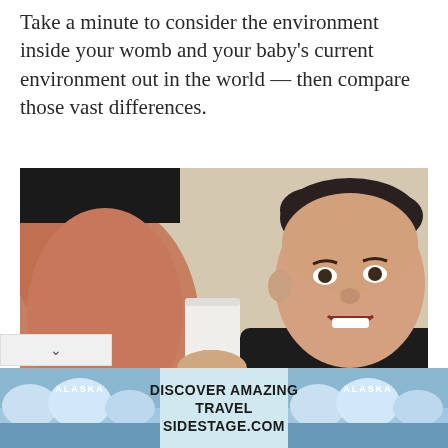Take a minute to consider the environment inside your womb and your baby's current environment out in the world — then compare those vast differences.
[Figure (photo): A man pressing a paper cup to a pregnant woman's bare belly, appearing to listen or speak through the cup, with an amused/surprised expression.]
[Figure (infographic): Advertisement banner: 'DISCOVER AMAZING TRAVEL SIDESTAGE.COM' with Alaska scenic imagery on both sides and 'ALASKA' text labels.]